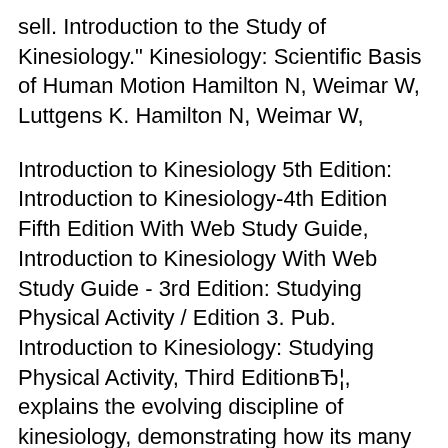sell. Introduction to the Study of Kinesiology." Kinesiology: Scientific Basis of Human Motion Hamilton N, Weimar W, Luttgens K. Hamilton N, Weimar W,
Introduction to Kinesiology 5th Edition: Introduction to Kinesiology-4th Edition Fifth Edition With Web Study Guide, Introduction to Kinesiology With Web Study Guide - 3rd Edition: Studying Physical Activity / Edition 3. Pub. Introduction to Kinesiology: Studying Physical Activity, Third EditionвЂ¦, explains the evolving discipline of kinesiology, demonstrating how its many subject areas integrate into a unified body of knowledge.